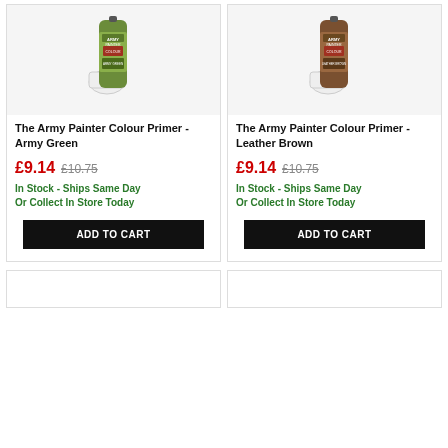[Figure (photo): The Army Painter Colour Primer spray can - Army Green, with a white cap shown next to it]
The Army Painter Colour Primer - Army Green
£9.14  £10.75
In Stock - Ships Same Day
Or Collect In Store Today
ADD TO CART
[Figure (photo): The Army Painter Colour Primer spray can - Leather Brown, with a white cap shown next to it]
The Army Painter Colour Primer - Leather Brown
£9.14  £10.75
In Stock - Ships Same Day
Or Collect In Store Today
ADD TO CART